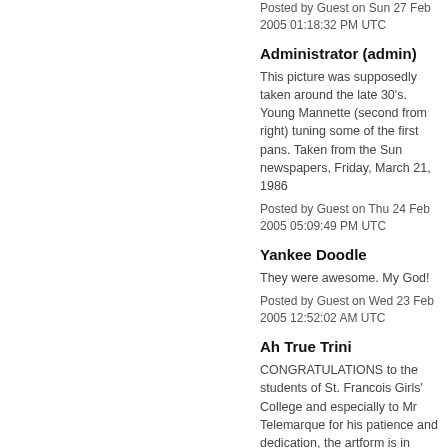Posted by Guest on Sun 27 Feb 2005 01:18:32 PM UTC
Administrator (admin)
This picture was supposedly taken around the late 30's. Young Mannette (second from right) tuning some of the first pans. Taken from the Sun newspapers, Friday, March 21, 1986
Posted by Guest on Thu 24 Feb 2005 05:09:49 PM UTC
Yankee Doodle
They were awesome. My God!
Posted by Guest on Wed 23 Feb 2005 12:52:02 AM UTC
Ah True Trini
CONGRATULATIONS to the students of St. Francois Girls' College and especially to Mr Telemarque for his patience and dedication, the artform is in great hands.
Posted by Guest on Wed 23 Feb 2005 12:50:05 AM